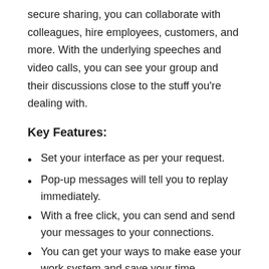secure sharing, you can collaborate with colleagues, hire employees, customers, and more. With the underlying speeches and video calls, you can see your group and their discussions close to the stuff you're dealing with.
Key Features:
Set your interface as per your request.
Pop-up messages will tell you to replay immediately.
With a free click, you can send and send your messages to your connections.
You can get your ways to make ease your work system and save your time.